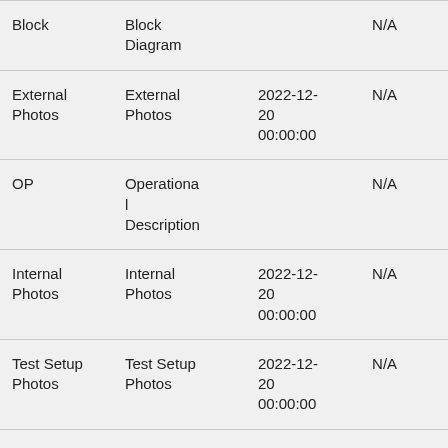| Block | Block Diagram |  | N/A |
| External Photos | External Photos | 2022-12-20 00:00:00 | N/A |
| OP | Operational Description |  | N/A |
| Internal Photos | Internal Photos | 2022-12-20 00:00:00 | N/A |
| Test Setup Photos | Test Setup Photos | 2022-12-20 00:00:00 | N/A |
| User | Users | 2022-12- | N/A |